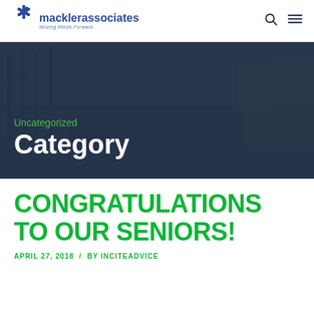[Figure (logo): Mackler Associates logo with blue asterisk star icon and text 'macklerassociates' with tagline 'Moving Minds Forward']
[Figure (photo): Hero banner background photo of a snowy winter street scene with trees and buildings, overlaid with dark blue-grey transparent overlay. Text overlay shows 'Uncategorized' in green and 'Category' in white bold large font.]
CONGRATULATIONS TO OUR SENIORS!
APRIL 27, 2018 / BY INCITEADVICE